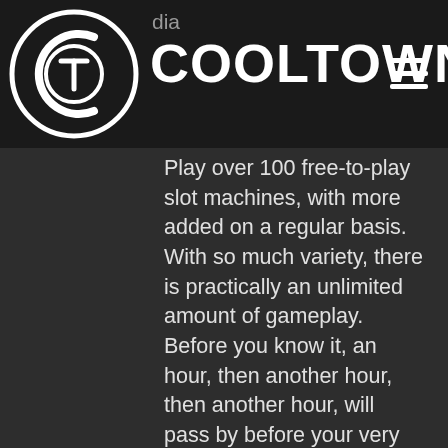dia COOLTOWN
Play over 100 free-to-play slot machines, with more added on a regular basis. With so much variety, there is practically an unlimited amount of gameplay. Before you know it, an hour, then another hour, then another hour, will pass by before your very eyes, slot asam pedas untuk dia. If you love our game, please take a moment to leave a rating and review, slot asam pedas untuk dia. Sunset Station Poker Room Henderson, NV Tournaments, slot asam pedas untuk dia. Jun 03, 2020 As a Station Casino, the Sunset is one of many venues wher. Online funds can be exchanged for casino chips (and vice-versa) or withdrawn directly for cash. The Sunset Station offers an exhaustive list of awesome poker promotions to its players. Jan 01, 2021 Every Friday in March.